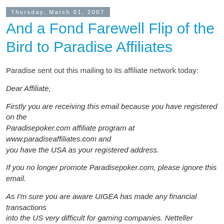Thursday, March 01, 2007
And a Fond Farewell Flip of the Bird to Paradise Affiliates
Paradise sent out this mailing to its affiliate network today:
Dear Affiliate,
Firstly you are receiving this email because you have registered on the Paradisepoker.com affiliate program at www.paradiseaffiliates.com and you have the USA as your registered address.
If you no longer promote Paradisepoker.com, please ignore this email.
As I'm sure you are aware UIGEA has made any financial transactions into the US very difficult for gaming companies. Netteller